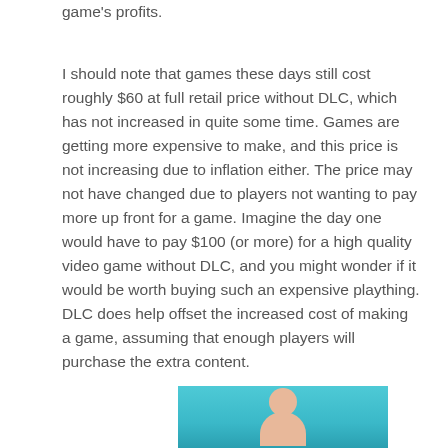game's profits.
I should note that games these days still cost roughly $60 at full retail price without DLC, which has not increased in quite some time. Games are getting more expensive to make, and this price is not increasing due to inflation either. The price may not have changed due to players not wanting to pay more up front for a game. Imagine the day one would have to pay $100 (or more) for a high quality video game without DLC, and you might wonder if it would be worth buying such an expensive plaything. DLC does help offset the increased cost of making a game, assuming that enough players will purchase the extra content.
[Figure (photo): Bottom portion of a photo showing a person against a teal/cyan background, only the top of the head and shoulders visible.]